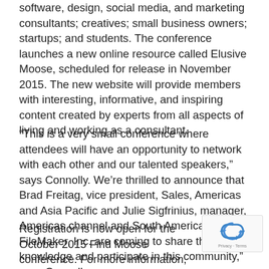software, design, social media, and marketing consultants; creatives; small business owners; startups; and students. The conference launches a new online resource called Elusive Moose, scheduled for release in November 2015. The new website will provide members with interesting, informative, and inspiring content created by experts from all aspects of living and working as a consultant.
“This is a very small conference where attendees will have an opportunity to network with each other and our talented speakers,” says Connolly. We’re thrilled to announce that Brad Freitag, vice president, Sales, Americas and Asia Pacific and Julie Sigfrinius, manager, Americas channel and South America, FileMaker, Inc. are coming to share their knowledge and participate in this community,” says Connolly.
Registration is now open for the October 2015 Find Moose conference. For more information, visit the
[Figure (other): reCAPTCHA badge with recycling-arrow logo and 'Privacy - Terms' text]